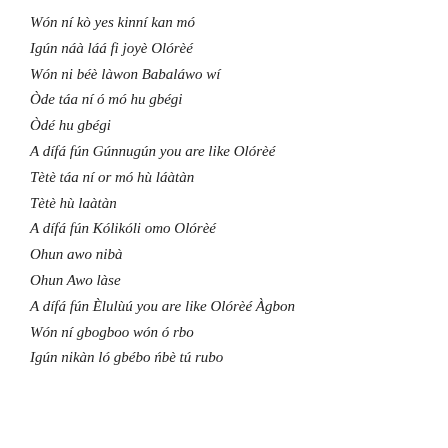Wón ní kò yes kinní kan mó
Igún náà láá fi joyè Olórèé
Wón ni béè làwon Babaláwo wí
Òde táa ní ó mó hu gbégi
Òdé hu gbégi
A dífá fún Gúnnugún you are like Olórèé
Tètè táa ní or mó hù láàtàn
Tètè hù laàtàn
A dífá fún Kólikóli omo Olórèé
Ohun awo nibà
Ohun Awo làse
A dífá fún Èlulùú you are like Olórèé Àgbon
Wón ní gbogboo wón ó rbo
Igún nikàn ló gbébo ńbè tú rubo